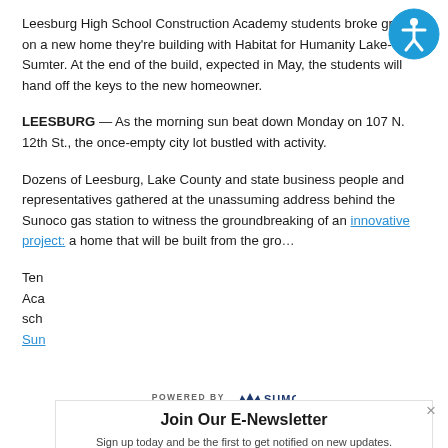Leesburg High School Construction Academy students broke ground on a new home they're building with Habitat for Humanity Lake-Sumter. At the end of the build, expected in May, the students will hand off the keys to the new homeowner.
[Figure (illustration): Accessibility icon — blue circle with white stick figure person symbol]
LEESBURG — As the morning sun beat down Monday on 107 N. 12th St., the once-empty city lot bustled with activity.
Dozens of Leesburg, Lake County and state business people and representatives gathered at the unassuming address behind the Sunoco gas station to witness the groundbreaking of an innovative project: a home that will be built from the gro…
Ten
Aca
sch
Sun
[Figure (logo): POWERED BY SUMO logo banner]
Join Our E-Newsletter
Sign up today and be the first to get notified on new updates.
Subscribe Now